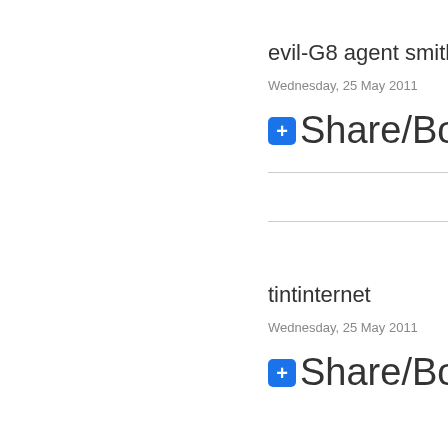evil-G8 agent smith
Wednesday, 25 May 2011
+ Share/Book
tintinternet
Wednesday, 25 May 2011
+ Share/Book